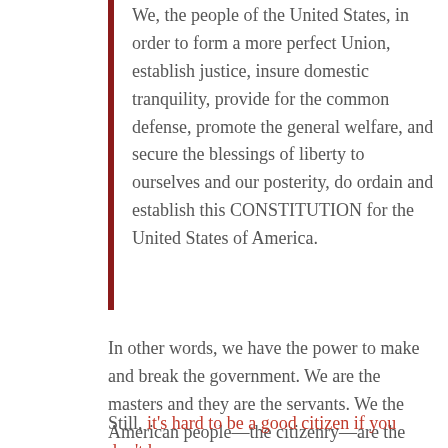We, the people of the United States, in order to form a more perfect Union, establish justice, insure domestic tranquility, provide for the common defense, promote the general welfare, and secure the blessings of liberty to ourselves and our posterity, do ordain and establish this CONSTITUTION for the United States of America.
In other words, we have the power to make and break the government. We are the masters and they are the servants. We the American people—the citizenry—are the arbiters and ultimate guardians of America's welfare, defense, liberty, laws, and prosperity.
Still, it's hard to be a good citizen if you don't know